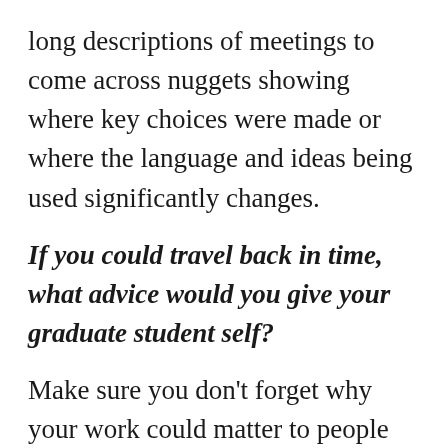long descriptions of meetings to come across nuggets showing where key choices were made or where the language and ideas being used significantly changes.
If you could travel back in time, what advice would you give your graduate student self?
Make sure you don't forget why your work could matter to people beyond your committee and other specialists. How you understand your potential audience is going to shape how you research and how you